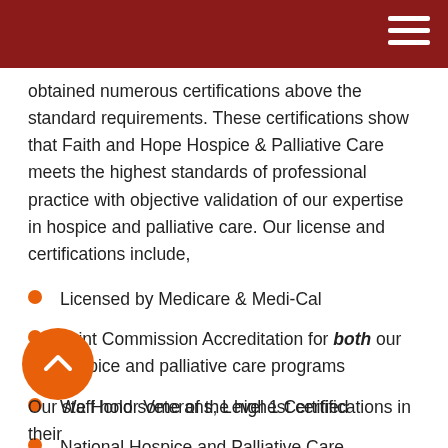obtained numerous certifications above the standard requirements. These certifications show that Faith and Hope Hospice & Palliative Care meets the highest standards of professional practice with objective validation of our expertise in hospice and palliative care. Our license and certifications include,
Licensed by Medicare & Medi-Cal
Joint Commission Accreditation for both our hospice and palliative care programs
We Honor Veterans, Level 1 Certified
National Hospice and Palliative Care Organization members
Our staff hold some of the highest certifications in their